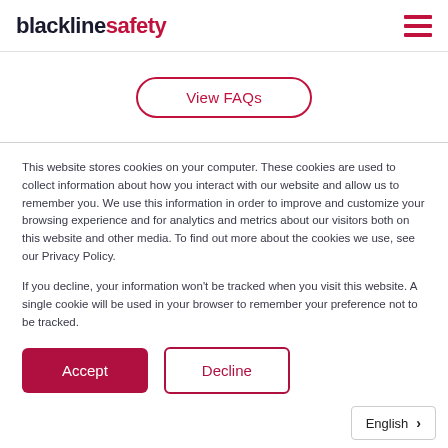blacklinesafety
View FAQs
This website stores cookies on your computer. These cookies are used to collect information about how you interact with our website and allow us to remember you. We use this information in order to improve and customize your browsing experience and for analytics and metrics about our visitors both on this website and other media. To find out more about the cookies we use, see our Privacy Policy.
If you decline, your information won't be tracked when you visit this website. A single cookie will be used in your browser to remember your preference not to be tracked.
Accept
Decline
English